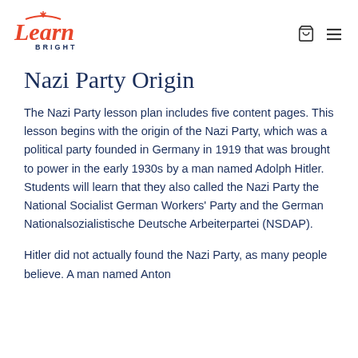[Figure (logo): Learn Bright logo in red/coral cursive with 'BRIGHT' in dark navy sans-serif below]
Nazi Party Origin
The Nazi Party lesson plan includes five content pages. This lesson begins with the origin of the Nazi Party, which was a political party founded in Germany in 1919 that was brought to power in the early 1930s by a man named Adolph Hitler. Students will learn that they also called the Nazi Party the National Socialist German Workers' Party and the German Nationalsozialistische Deutsche Arbeiterpartei (NSDAP).
Hitler did not actually found the Nazi Party, as many people believe. A man named Anton